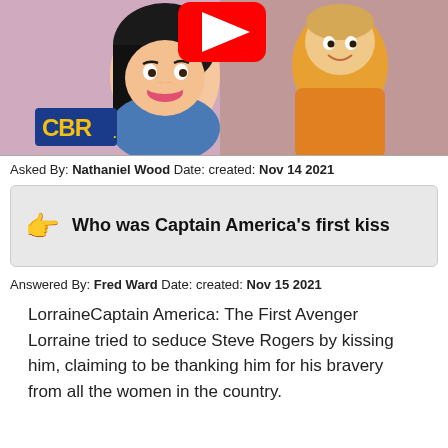[Figure (screenshot): Thumbnail image from CBR showing animated characters - a woman with dark hair and a man in an orange jacket, with a YouTube play button overlay and the CBR logo visible.]
Asked By: Nathaniel Wood Date: created: Nov 14 2021
Who was Captain America's first kiss
Answered By: Fred Ward Date: created: Nov 15 2021
LorraineCaptain America: The First Avenger Lorraine tried to seduce Steve Rogers by kissing him, claiming to be thanking him for his bravery from all the women in the country.